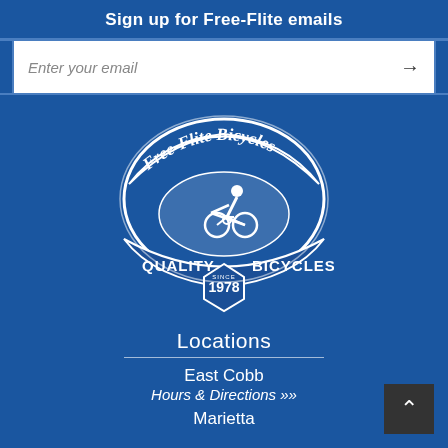Sign up for Free-Flite emails
Enter your email
[Figure (logo): Free-Flite Bicycles logo: oval badge with script text 'Free-Flite Bicycles' on top arc, cyclist silhouette in center, 'QUALITY BICYCLES' on bottom band, shield badge reading 'SINCE 1978' at bottom center. White on blue color scheme.]
Locations
East Cobb
Hours & Directions »
Marietta